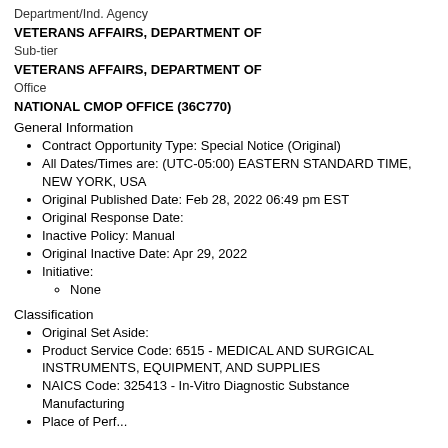Department/Ind. Agency
VETERANS AFFAIRS, DEPARTMENT OF
Sub-tier
VETERANS AFFAIRS, DEPARTMENT OF
Office
NATIONAL CMOP OFFICE (36C770)
General Information
Contract Opportunity Type: Special Notice (Original)
All Dates/Times are: (UTC-05:00) EASTERN STANDARD TIME, NEW YORK, USA
Original Published Date: Feb 28, 2022 06:49 pm EST
Original Response Date:
Inactive Policy: Manual
Original Inactive Date: Apr 29, 2022
Initiative:
None
Classification
Original Set Aside:
Product Service Code: 6515 - MEDICAL AND SURGICAL INSTRUMENTS, EQUIPMENT, AND SUPPLIES
NAICS Code: 325413 - In-Vitro Diagnostic Substance Manufacturing
Place of Performance